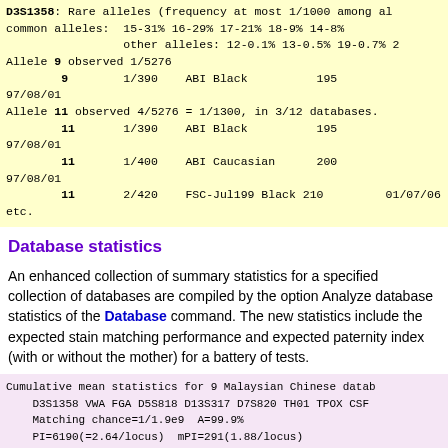D3S1358: Rare alleles (frequency at most 1/1000 among all common alleles: 15-31% 16-29% 17-21% 18-9% 14-8% other alleles: 12-0.1% 13-0.5% 19-0.7% 2 Allele 9 observed 1/5276 9 1/390 ABI Black 195 97/08/01 Allele 11 observed 4/5276 = 1/1300, in 3/12 databases. 11 1/390 ABI Black 195 97/08/01 11 1/400 ABI Caucasian 200 97/08/01 11 2/420 FSC-Jul199 Black 210 01/07/06 etc.
Database statistics
An enhanced collection of summary statistics for a specified collection of databases are compiled by the option Analyze database statistics of the Database command. The new statistics include the expected stain matching performance and expected paternity index (with or without the mother) for a battery of tests.
Cumulative mean statistics for 9 Malaysian Chinese datab D3S1358 VWA FGA D5S818 D13S317 D7S820 TH01 TPOX CSF Matching chance=1/1.9e9 A=99.9% PI=6190(=2.64/locus) mPI=291(1.88/locus) Cumulative mean statistics for 9 Malaysian Malay databas D3S1358 VWA FGA D5S818 D13S317 D7S820 TH01 TPOX CSF Matching chance=1/3.2e9 A=99.92% PI=8000(=2.71/locus) mPI=257(1.92/locus)